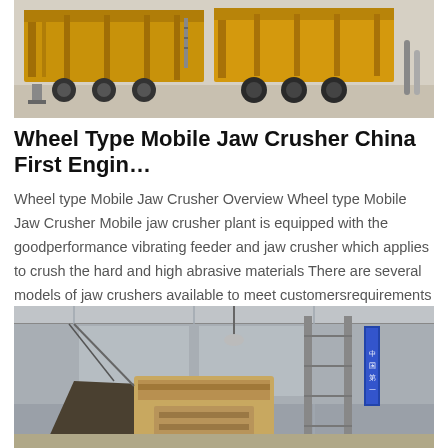[Figure (photo): Yellow mobile jaw crusher equipment on trailers parked in an outdoor facility]
Wheel Type Mobile Jaw Crusher China First Engin…
Wheel type Mobile Jaw Crusher Overview Wheel type Mobile Jaw Crusher Mobile jaw crusher plant is equipped with the goodperformance vibrating feeder and jaw crusher which applies to crush the hard and high abrasive materials There are several models of jaw crushers available to meet customersrequirements
[Figure (photo): Industrial crusher equipment inside a large warehouse/factory facility with metal framework and machinery]